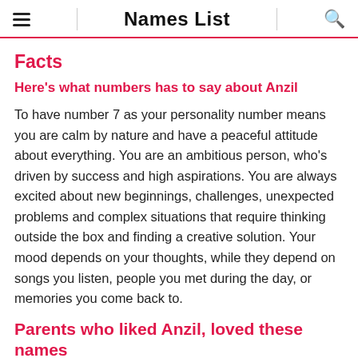Names List
Facts
Here's what numbers has to say about Anzil
To have number 7 as your personality number means you are calm by nature and have a peaceful attitude about everything. You are an ambitious person, who's driven by success and high aspirations. You are always excited about new beginnings, challenges, unexpected problems and complex situations that require thinking outside the box and finding a creative solution. Your mood depends on your thoughts, while they depend on songs you listen, people you met during the day, or memories you come back to.
Parents who liked Anzil, loved these names